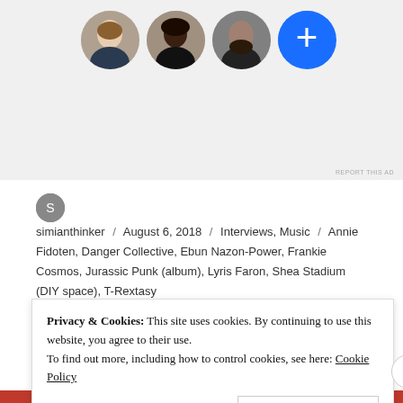[Figure (photo): Three circular avatar photos (woman with light skin, woman with dark skin, man with beard) and a blue circle with plus sign, shown in a row on a light grey background. Part of a website header/ad area.]
REPORT THIS AD
simianthinker / August 6, 2018 / Interviews, Music / Annie Fidoten, Danger Collective, Ebun Nazon-Power, Frankie Cosmos, Jurassic Punk (album), Lyris Faron, Shea Stadium (DIY space), T-Rextasy
DONATE TO QUEEN CITY SOUNDS
Privacy & Cookies: This site uses cookies. By continuing to use this website, you agree to their use.
To find out more, including how to control cookies, see here: Cookie Policy
Close and accept